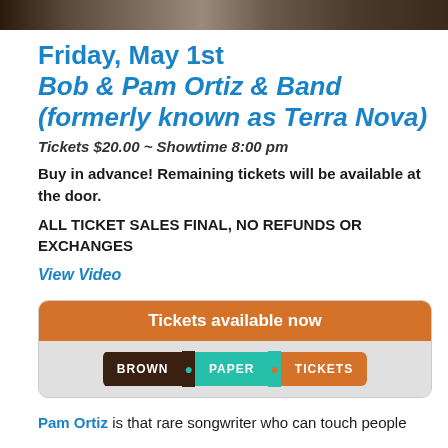[Figure (photo): Partial photo strip at top of page, dark tones showing performers or outdoor scene]
Friday, May 1st
Bob & Pam Ortiz & Band
(formerly known as Terra Nova)
Tickets $20.00 ~ Showtime 8:00 pm
Buy in advance! Remaining tickets will be available at the door.
ALL TICKET SALES FINAL, NO REFUNDS OR EXCHANGES
View Video
[Figure (screenshot): Brown Paper Tickets widget — orange header 'Tickets available now' with Brown Paper Tickets logo below on grey background]
Pam Ortiz is that rare songwriter who can touch people